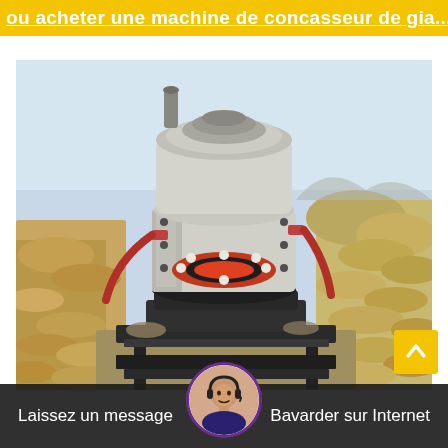ou acheter une machine de concasseur de gia...
[Figure (photo): Photograph of a large cone crusher machine mounted on a steel frame in an open-air mining/quarry site. The crusher is white and gray with red and orange mechanical components visible near the base. Sandy/rocky terrain visible in the background.]
Laissez un message
Bavarder sur Internet